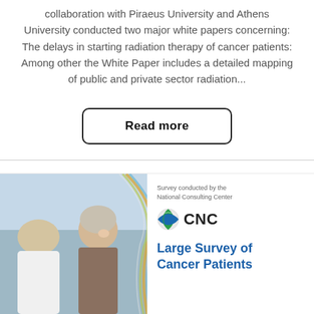collaboration with Piraeus University and Athens University conducted two major white papers concerning: The delays in starting radiation therapy of cancer patients: Among other the White Paper includes a detailed mapping of public and private sector radiation...
Read more
[Figure (photo): A smiling cancer patient wearing a head covering talking with a healthcare professional]
Survey conducted by the National Consulting Center
[Figure (logo): CNC (National Consulting Center) logo with globe icon]
Large Survey of Cancer Patients